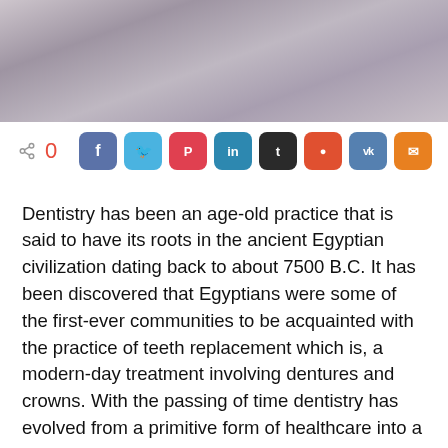[Figure (photo): Close-up photo of a person with blonde hair lying back, possibly in a dental chair, with a purple/grey background.]
0  [social share buttons: Facebook, Twitter, Pinterest, LinkedIn, Tumblr, Reddit, VK, Email]
Dentistry has been an age-old practice that is said to have its roots in the ancient Egyptian civilization dating back to about 7500 B.C. It has been discovered that Egyptians were some of the first-ever communities to be acquainted with the practice of teeth replacement which is, a modern-day treatment involving dentures and crowns. With the passing of time dentistry has evolved from a primitive form of healthcare into a modernized, preventative form of healthcare that offers an array of dental care treatments.
Like every other healthcare facilitator like the Yarraville dental clinic, is bound by orthodox principles which have preserved and carried the good name of dental clinics to greater heights. Providing adequate care to your teeth is as…